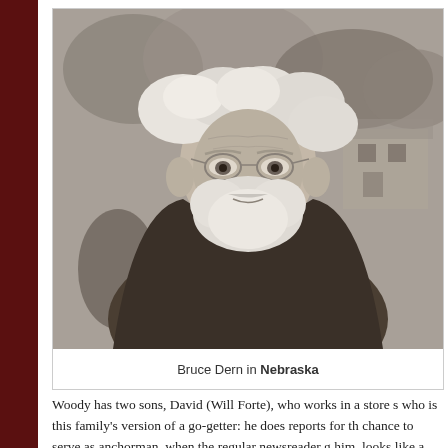[Figure (photo): Black and white / sepia-toned photograph of Bruce Dern as Woody in the film Nebraska. An elderly man with white hair and beard, wearing glasses and a plaid flannel jacket with a sherpa collar, looking upward with a somber expression. Trees and a house are visible in the blurred background.]
Bruce Dern in Nebraska
Woody has two sons, David (Will Forte), who works in a store s who is this family's version of a go-getter: he does reports for th chance to serve as anchorman, when the regular newsreader g him, looks like a complete sad sack, resigned to settling into a l that some part of him still hopes for better things: he's quit drink of in theory. David views Woody as little more than a living remi